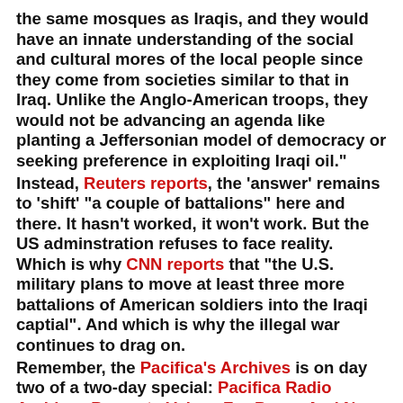the same mosques as Iraqis, and they would have an innate understanding of the social and cultural mores of the local people since they come from societies similar to that in Iraq. Unlike the Anglo-American troops, they would not be advancing an agenda like planting a Jeffersonian model of democracy or seeking preference in exploiting Iraqi oil."
Instead, Reuters reports, the 'answer' remains to 'shift' "a couple of battalions" here and there. It hasn't worked, it won't work. But the US adminstration refuses to face reality. Which is why CNN reports that "the U.S. military plans to move at least three more battalions of American soldiers into the Iraqi captial". And which is why the illegal war continues to drag on.
Remember, the Pacifica's Archives is on day two of a two-day special: Pacifica Radio Archives Presents Voices For Peace And Non-Violence. It is airing on all Pacifica stations (KPFA, KFCF, KPFT, WBAI, KPFK, WPFW), many affiliates and online. The special started today and pulls from the fifty plus years of archives. (Donations made during this two day period go to preserve the archives.) Among the voices heard since